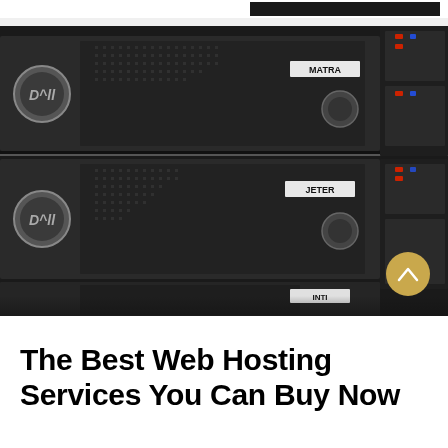[Figure (photo): Close-up photograph of Dell server rack units stacked in a data center. Server units are labeled 'MATRA' and 'JETER' with visible drive bays, ventilation grilles, indicator lights (blue and red LEDs), and Dell logos on circular medallions. A gold/amber circular scroll-to-top button with an upward chevron is visible in the bottom-right corner of the image.]
The Best Web Hosting Services You Can Buy Now